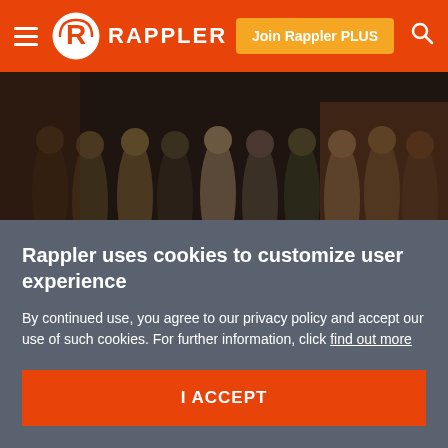RAPPLER — Join Rappler PLUS
[Figure (photo): Night scene showing a crowd of people standing on a street watching something. In the foreground, a person kneels on the ground next to a candle, appearing to grieve over a body on the street.]
Rappler uses cookies to customize user experience
By continued use, you agree to our privacy policy and accept our use of such cookies. For further information, click find out more
I ACCEPT